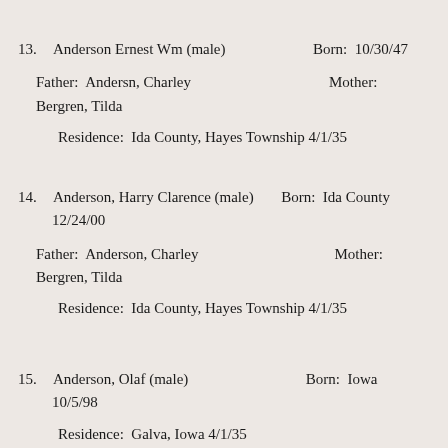13.  Anderson Ernest Wm (male)          Born:  10/30/47
        Father:  Andersn, Charley                          Mother:  Bergren, Tilda
            Residence:  Ida County, Hayes Township 4/1/35
14.  Anderson, Harry Clarence (male)    Born:  Ida County 12/24/00
        Father:  Anderson, Charley                          Mother:  Bergren, Tilda
            Residence:  Ida County, Hayes Township 4/1/35
15.  Anderson, Olaf (male)                  Born:  Iowa 10/5/98
            Residence:  Galva, Iowa 4/1/35